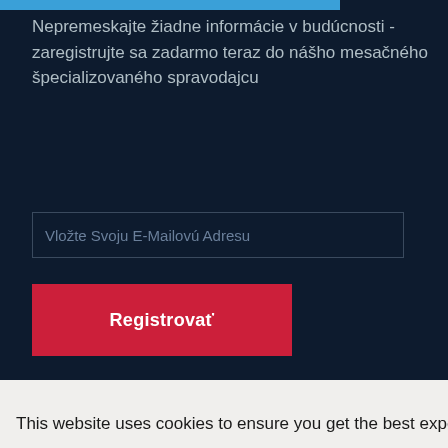Nepremeskajte žiadne informácie v budúcnosti - zaregistrujte sa zadarmo teraz do nášho mesačného špecializovaného spravodajcu
Vložte Svoju E-Mailovú Adresu
Registrovať
This website uses cookies to ensure you get the best experience on our website
Learn more | Imprint
Refuse cookies
Allow cookies
ap